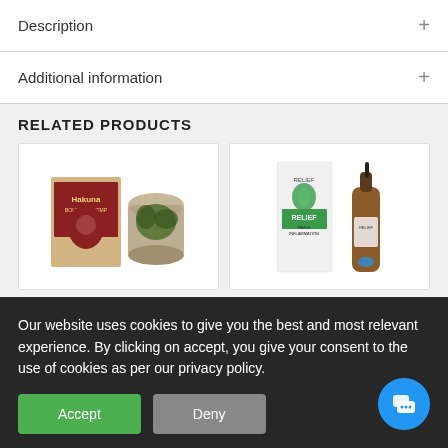Description
Additional information
RELATED PRODUCTS
[Figure (photo): Product card showing Hakuna Boutique Hemp box and a glass jar with hemp flowers]
[Figure (photo): Product card showing Relief Pain & Inflammation CBD tincture bottle with dropper]
Our website uses cookies to give you the best and most relevant experience. By clicking on accept, you give your consent to the use of cookies as per our privacy policy.
Accept
Deny